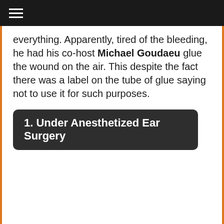≡
everything. Apparently, tired of the bleeding, he had his co-host Michael Goudaeu glue the wound on the air. This despite the fact there was a label on the tube of glue saying not to use it for such purposes.
1. Under Anesthetized Ear Surgery